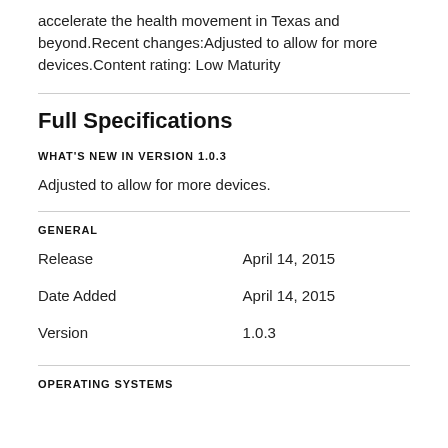accelerate the health movement in Texas and beyond.Recent changes:Adjusted to allow for more devices.Content rating: Low Maturity
Full Specifications
WHAT'S NEW IN VERSION 1.0.3
Adjusted to allow for more devices.
GENERAL
| Release | April 14, 2015 |
| Date Added | April 14, 2015 |
| Version | 1.0.3 |
OPERATING SYSTEMS